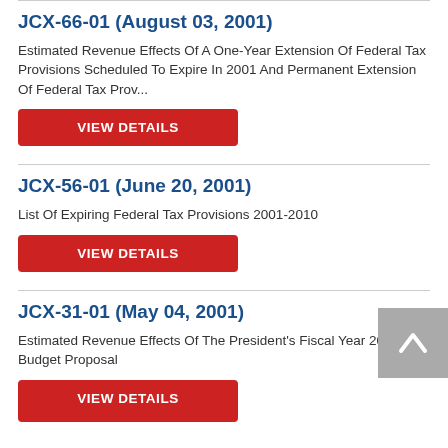JCX-66-01 (August 03, 2001)
Estimated Revenue Effects Of A One-Year Extension Of Federal Tax Provisions Scheduled To Expire In 2001 And Permanent Extension Of Federal Tax Prov...
VIEW DETAILS
JCX-56-01 (June 20, 2001)
List Of Expiring Federal Tax Provisions 2001-2010
VIEW DETAILS
JCX-31-01 (May 04, 2001)
Estimated Revenue Effects Of The President's Fiscal Year 2002 Budget Proposal
VIEW DETAILS